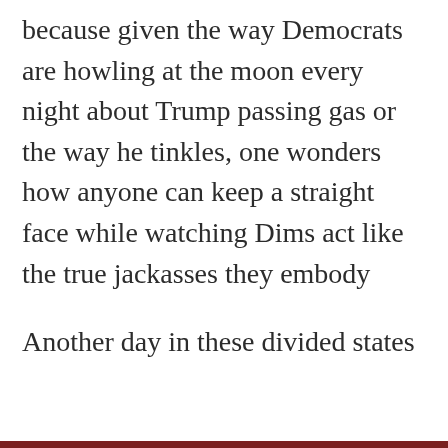because given the way Democrats are howling at the moon every night about Trump passing gas or the way he tinkles, one wonders how anyone can keep a straight face while watching Dims act like the true jackasses they embody

Another day in these divided states